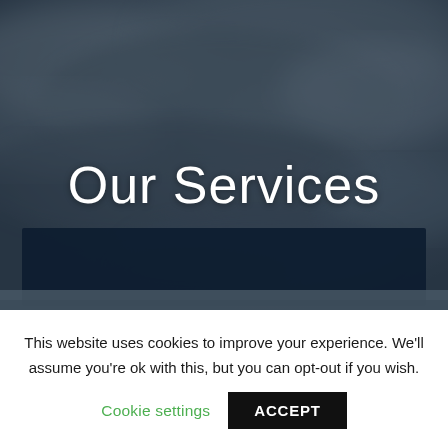[Figure (photo): Dark stormy sky background with dramatic cloud textures in grey and blue-grey tones, serving as hero section backdrop]
Our Services
[Figure (photo): Dark navy blue rectangular panel overlaid on the lower portion of the hero image, partially showing a landscape below]
This website uses cookies to improve your experience. We'll assume you're ok with this, but you can opt-out if you wish.
Cookie settings
ACCEPT